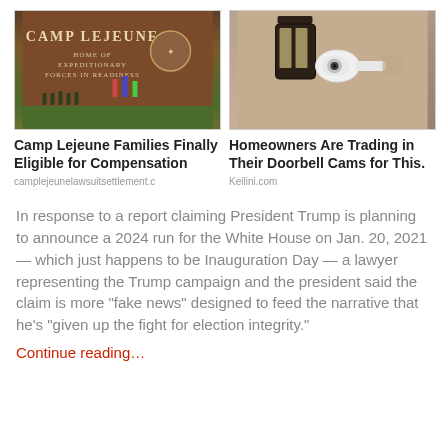[Figure (photo): Camp Lejeune sign photo with brick wall and Marine Corps emblem]
[Figure (photo): Security camera mounted on wall next to a decorative lamp]
Camp Lejeune Families Finally Eligible for Compensation
Homeowners Are Trading in Their Doorbell Cams for This.
camplejeunelawsuitsettlement.c
Keilini.com
In response to a report claiming President Trump is planning to announce a 2024 run for the White House on Jan. 20, 2021 — which just happens to be Inauguration Day — a lawyer representing the Trump campaign and the president said the claim is more “fake news” designed to feed the narrative that he’s “given up the fight for election integrity.”
Continue reading…